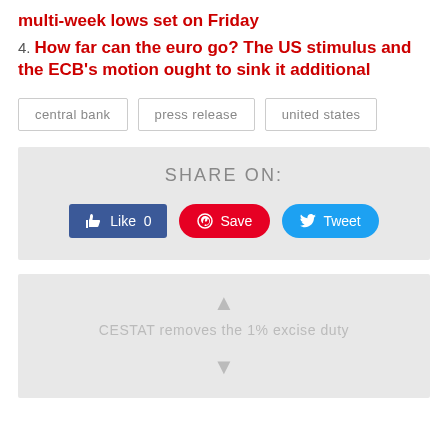multi-week lows set on Friday
4. How far can the euro go? The US stimulus and the ECB's motion ought to sink it additional
central bank
press release
united states
SHARE ON:
[Figure (infographic): Social share buttons: Facebook Like 0, Pinterest Save, Twitter Tweet]
[Figure (infographic): Next article preview box with icon and text: CESTAT removes the 1% excise duty]